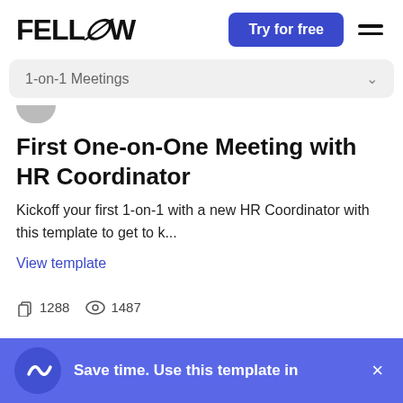FELLOW — Try for free
1-on-1 Meetings
First One-on-One Meeting with HR Coordinator
Kickoff your first 1-on-1 with a new HR Coordinator with this template to get to k...
View template
1288  1487
Save time. Use this template in Fellow.